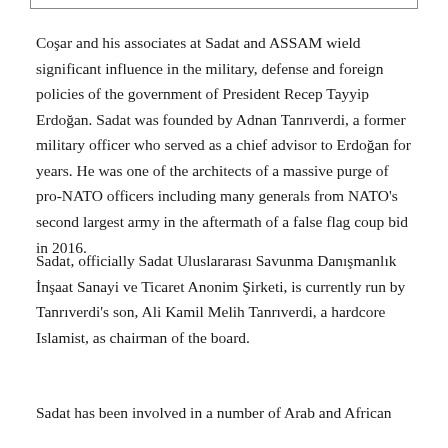Coşar and his associates at Sadat and ASSAM wield significant influence in the military, defense and foreign policies of the government of President Recep Tayyip Erdoğan. Sadat was founded by Adnan Tanrıverdi, a former military officer who served as a chief advisor to Erdoğan for years. He was one of the architects of a massive purge of pro-NATO officers including many generals from NATO's second largest army in the aftermath of a false flag coup bid in 2016.
Sadat, officially Sadat Uluslararası Savunma Danışmanlık İnşaat Sanayi ve Ticaret Anonim Şirketi, is currently run by Tanrıverdi's son, Ali Kamil Melih Tanrıverdi, a hardcore Islamist, as chairman of the board.
Sadat has been involved in a number of Arab and African